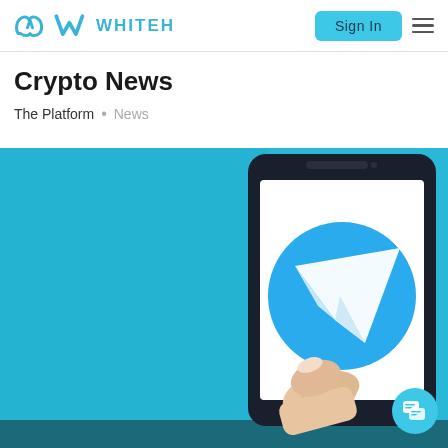WHITEH — Sign In
Crypto News
The Platform • News
[Figure (screenshot): A smartphone displaying the Telegram app icon (blue circle with white paper plane logo), being tapped by a finger. The background is bright cyan/blue fabric texture. The phone has a dark frame.]